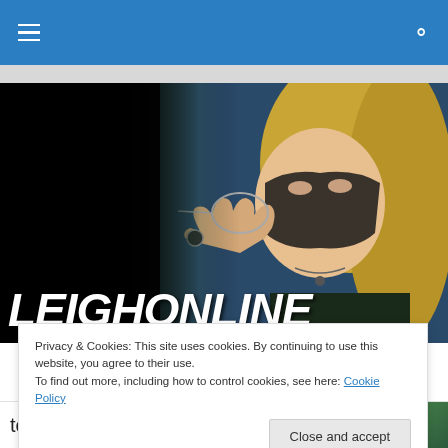Navigation bar with hamburger menu and search icon
[Figure (photo): Hero banner image showing a blonde woman wearing a dark mask and pointing with two fingers, with the site logo LEIGHONLINE overlaid in large bold italic white text at the bottom left.]
Privacy & Cookies: This site uses cookies. By continuing to use this website, you agree to their use.
To find out more, including how to control cookies, see here: Cookie Policy
Close and accept
tonight the king is